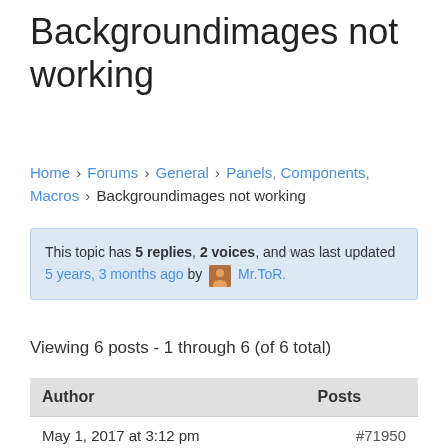Backgroundimages not working
Home › Forums › General › Panels, Components, Macros › Backgroundimages not working
This topic has 5 replies, 2 voices, and was last updated 5 years, 3 months ago by Mr.ToR.
Viewing 6 posts - 1 through 6 (of 6 total)
| Author | Posts |
| --- | --- |
| May 1, 2017 at 3:12 pm | #71950 |
| FantomXR
Participant
Topics: 2
Replies: 4
Total: 6 |  |